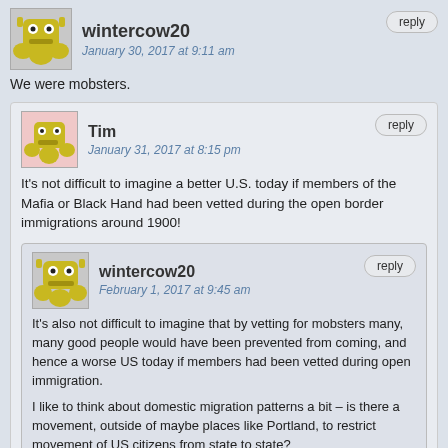wintercow20
January 30, 2017 at 9:11 am
We were mobsters.
Tim
January 31, 2017 at 8:15 pm
It's not difficult to imagine a better U.S. today if members of the Mafia or Black Hand had been vetted during the open border immigrations around 1900!
wintercow20
February 1, 2017 at 9:45 am
It's also not difficult to imagine that by vetting for mobsters many, many good people would have been prevented from coming, and hence a worse US today if members had been vetted during open immigration.
I like to think about domestic migration patterns a bit – is there a movement, outside of maybe places like Portland, to restrict movement of US citizens from state to state?
jb